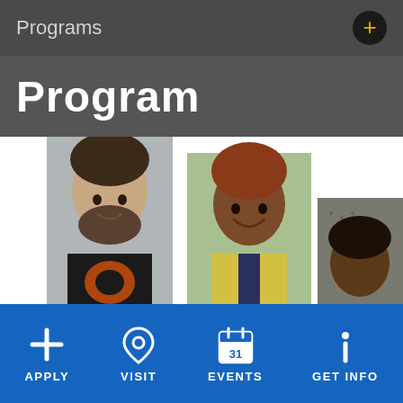Programs
Program
[Figure (photo): Six vertical photo strips showing diverse students smiling, arranged like ascending bar chart columns on white background]
APPLY  VISIT  EVENTS  GET INFO